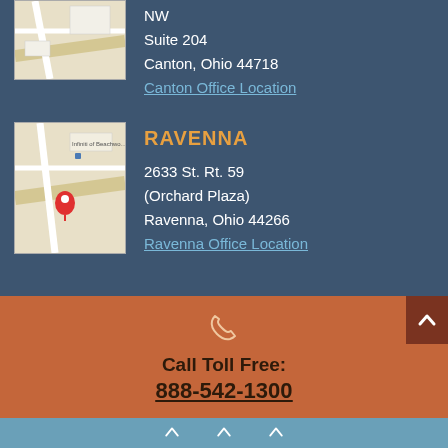[Figure (map): Google map snippet showing Canton office location with road lines]
NW
Suite 204
Canton, Ohio 44718
Canton Office Location
RAVENNA
[Figure (map): Google map snippet showing Ravenna office location at Orchard Plaza with red pin marker and 'Infiniti of Beachwood' label]
2633 St. Rt. 59
(Orchard Plaza)
Ravenna, Ohio 44266
Ravenna Office Location
[Figure (illustration): White phone icon outline on orange background]
Call Toll Free:
888-542-1300
[Figure (illustration): Light blue footer section with chevron/arrow icons]